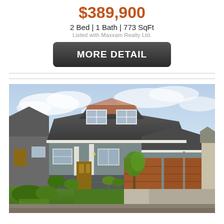$389,900
2 Bed | 1 Bath | 773 SqFt
Listed with Maxxam Realty Ltd.
MORE DETAIL
[Figure (photo): Exterior photo of a two-storey residential home with grey siding, brown/orange garage doors, stone accents, landscaped front yard with green lawn and shrubs, and a concrete driveway. Partly cloudy sky in background.]